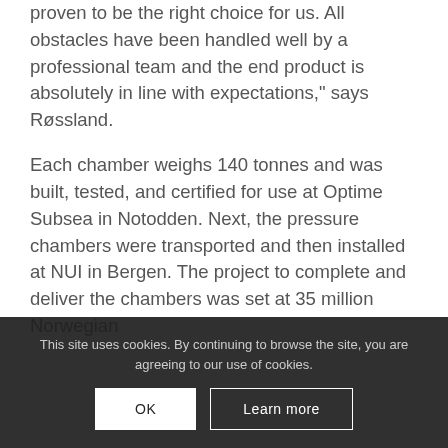proven to be the right choice for us. All obstacles have been handled well by a professional team and the end product is absolutely in line with expectations," says Røssland.
Each chamber weighs 140 tonnes and was built, tested, and certified for use at Optime Subsea in Notodden. Next, the pressure chambers were transported and then installed at NUI in Bergen. The project to complete and deliver the chambers was set at 35 million Norwegian...
This site uses cookies. By continuing to browse the site, you are agreeing to our use of cookies.